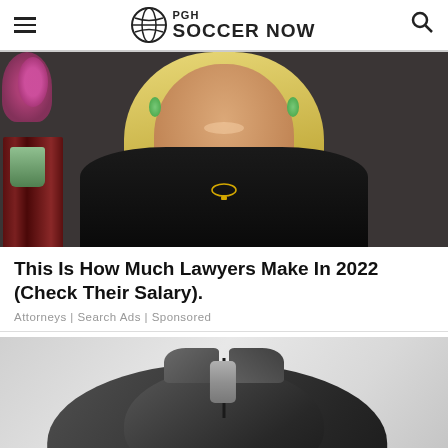PGH SOCCER NOW
[Figure (photo): Photo of a smiling blonde woman in a judge's black robe, seated at a desk with law books and pink flowers in the background]
This Is How Much Lawyers Make In 2022 (Check Their Salary).
Attorneys | Search Ads | Sponsored
[Figure (photo): Product photo of a sleek black wireless computer mouse against a light gray background]